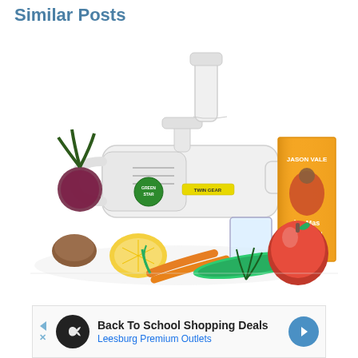Similar Posts
[Figure (photo): A Green Star Twin Gear juicer surrounded by fresh vegetables and fruits including carrots, beets, lemon, cucumber, apple, and herbs, with a Jason Vale juice book visible in the background.]
[Figure (screenshot): Advertisement banner for 'Back To School Shopping Deals' by Leesburg Premium Outlets, with a black circular icon with infinity symbol, navigation arrows, and a blue directional arrow button.]